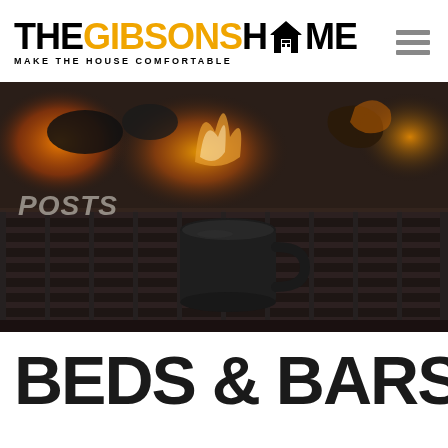[Figure (logo): The Gibsons Home logo with orange GIBSONS text and house icon, tagline MAKE THE HOUSE COMFORTABLE]
[Figure (photo): Close-up photo of a black enamel camping mug sitting on a dark grill grate with fire and glowing embers in the background]
POSTS
BEDS & BARS